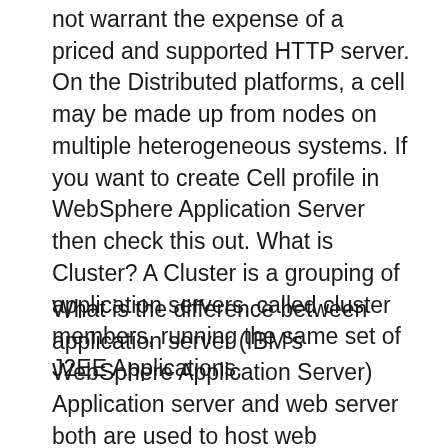not warrant the expense of a priced and supported HTTP server. On the Distributed platforms, a cell may be made up from nodes on multiple heterogeneous systems. If you want to create Cell profile in WebSphere Application Server then check this out. What is Cluster? A Cluster is a grouping of application servers, called cluster members, running the same set of J2EE Applications.
What is the difference between application server (IBM's WebSphere Application Server) Application server and web server both are used to host web application. These tables contain information about the Java SDK version shipped or tested with each IBM WebSphere Application